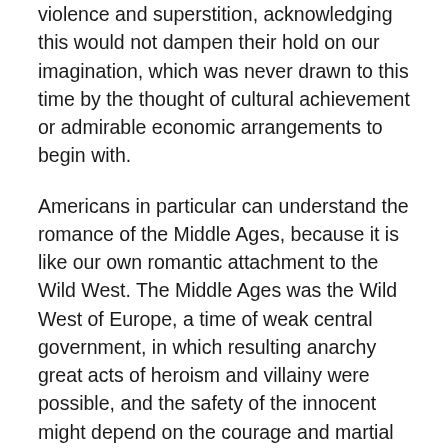violence and superstition, acknowledging this would not dampen their hold on our imagination, which was never drawn to this time by the thought of cultural achievement or admirable economic arrangements to begin with.
Americans in particular can understand the romance of the Middle Ages, because it is like our own romantic attachment to the Wild West. The Middle Ages was the Wild West of Europe, a time of weak central government, in which resulting anarchy great acts of heroism and villainy were possible, and the safety of the innocent might depend on the courage and martial prowess of one man. Nostalgia for the Middle Ages, if that's what it is, certainly doesn't idealize the Middle Ages. If anything, it would prefer to exaggerate how violent and chaotic they were, just as Western movies no doubt exaggerate how violent day-to-day life was during the early settlement of western